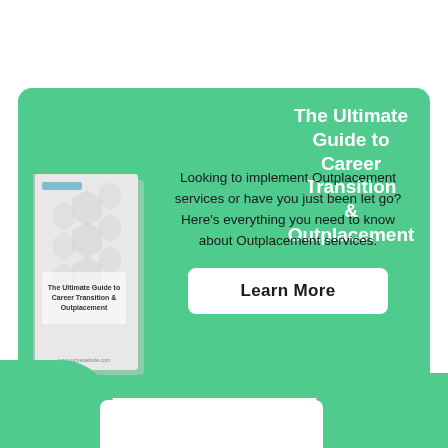[Figure (infographic): Promotional banner card with green background showing a book cover for 'The Ultimate Guide to Career Transition & Outplacement' alongside descriptive text and a Learn More button]